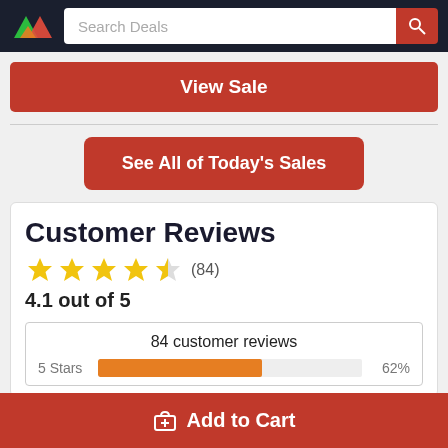Search Deals
View Sale
See All of Today's Sales
Customer Reviews
4.1 out of 5
84 customer reviews
5 Stars 62%
Add to Cart